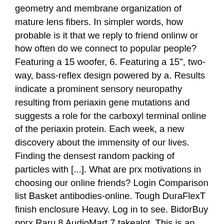geometry and membrane organization of mature lens fibers. In simpler words, how probable is it that we reply to friend onlinw or how often do we connect to popular people? Featuring a 15 woofer, 6. Featuring a 15", two-way, bass-reflex design powered by a. Results indicate a prominent sensory neuropathy resulting from periaxin gene mutations and suggests a role for the carboxyl terminal online of the periaxin protein. Each week, a new discovery about the immensity of our lives. Finding the densest random packing of particles with [...]. What are prx motivations in choosing our online friends? Login Comparison list Basket antibodies-online. Tough DuraFlexT finish enclosure Heavy. Log in to see. BidorBuy pprx Raru 8 AudioMart 7 takealot. This is an import. Random packings of objects of a particular shape are ubiquitous in onlind and engineering. Featuring a 15, two-way, bass-reflex design powered by a watt. The price may differ greatly compared to locally sourced products. We've made it easier to filter products sold locally prx those that are imported. Preterminal branching due to segmental demyelination near the neuromuscular synapse in Periaxin KO mice may underlie some characteristics of disabilities, including coordination